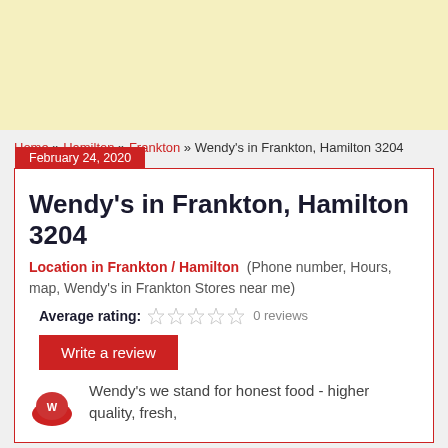[Figure (other): Advertisement banner area with light yellow background]
Home » Hamilton » Frankton » Wendy's in Frankton, Hamilton 3204
February 24, 2020
Wendy's in Frankton, Hamilton 3204
Location in Frankton / Hamilton (Phone number, Hours, map, Wendy's in Frankton Stores near me)
Average rating: 0 reviews
Write a review
Wendy's we stand for honest food - higher quality, fresh,